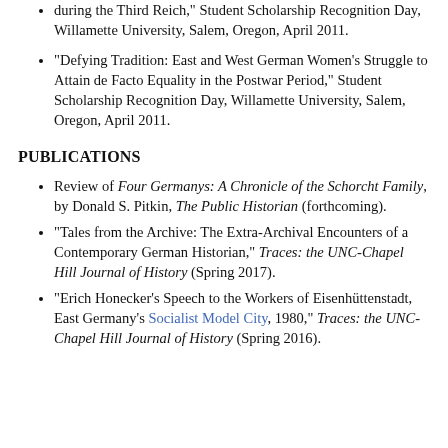during the Third Reich," Student Scholarship Recognition Day, Willamette University, Salem, Oregon, April 2011.
"Defying Tradition: East and West German Women's Struggle to Attain de Facto Equality in the Postwar Period," Student Scholarship Recognition Day, Willamette University, Salem, Oregon, April 2011.
PUBLICATIONS
Review of Four Germanys: A Chronicle of the Schorcht Family, by Donald S. Pitkin, The Public Historian (forthcoming).
"Tales from the Archive: The Extra-Archival Encounters of a Contemporary German Historian," Traces: the UNC-Chapel Hill Journal of History (Spring 2017).
"Erich Honecker's Speech to the Workers of Eisenhüttenstadt, East Germany's Socialist Model City, 1980," Traces: the UNC-Chapel Hill Journal of History (Spring 2016).